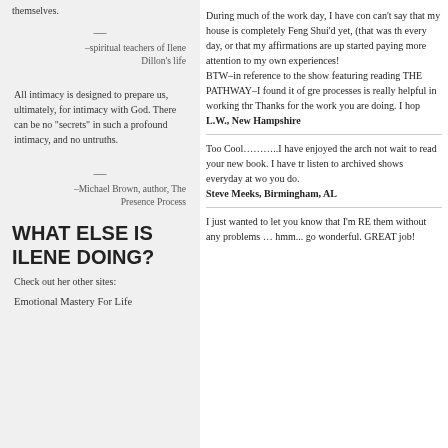themselves.
—
–spiritual teachers of Ilene Dillon's life
All intimacy is designed to prepare us, ultimately, for intimacy with God. There can be no "secrets" in such a profound intimacy, and no untruths.
—
–Michael Brown, author, The Presence Process
WHAT ELSE IS ILENE DOING?
Check out her other sites:
Emotional Mastery For Life
During much of the work day, I have con... can't say that my house is completely Feng Shui'd yet, (that was th... every day, or that my affirmations are up... started paying more attention to my own... experiences! BTW–in reference to the show featuring... reading THE PATHWAY–I found it of gre... processes is really helpful in working thr... Thanks for the work you are doing. I hop... L.W., New Hampshire
Too Cool………..I have enjoyed the arch... not wait to read your new book. I have tr... listen to archived shows everyday at wo... you do. Steve Meeks, Birmingham, AL
I just wanted to let you know that I'm RE... them without any problems … hmm... go... wonderful. GREAT job!